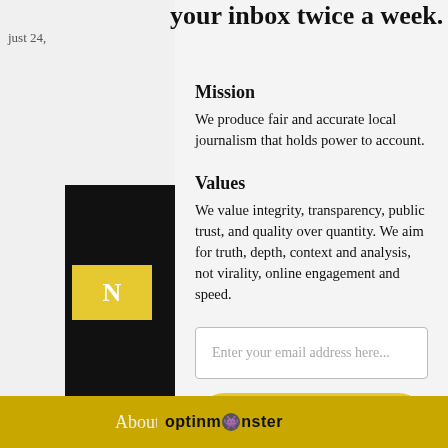just 24,
Mission
We produce fair and accurate local journalism that holds power to account.
Values
We value integrity, transparency, public trust, and quality over quantity. We aim for truth, depth, context and analysis, not virality, online engagement and speed.
Enter your email address here...
Subscribe
No thanks
About Santa Cruz Local
optinmonster